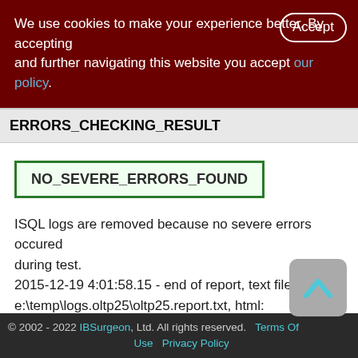We use cookies to make your experience better. By accepting and further navigating this website you accept our policy.
ERRORS_CHECKING_RESULT
NO_SEVERE_ERRORS_FOUND
ISQL logs are removed because no severe errors occured during test.
2015-12-19 4:01:58.15 - end of report, text file:
e:\temp\logs.oltp25\oltp25.report.txt, html:
e:\temp\logs.oltp25\oltp25.report.html
© 2002 - 2022 IBSurgeon, Ltd. All rights reserved.  Terms Of Use  Privacy Policy